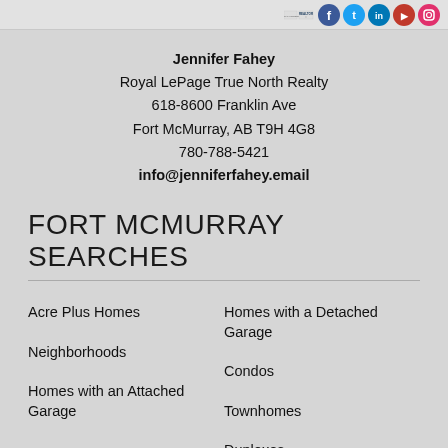Header strip with logos and social icons
Jennifer Fahey
Royal LePage True North Realty
618-8600 Franklin Ave
Fort McMurray, AB T9H 4G8
780-788-5421
info@jenniferfahey.email
FORT MCMURRAY SEARCHES
Acre Plus Homes
Homes with a Detached Garage
Neighborhoods
Condos
Homes with an Attached Garage
Townhomes
Accessible Homes
Duplexes
Vacant Lots